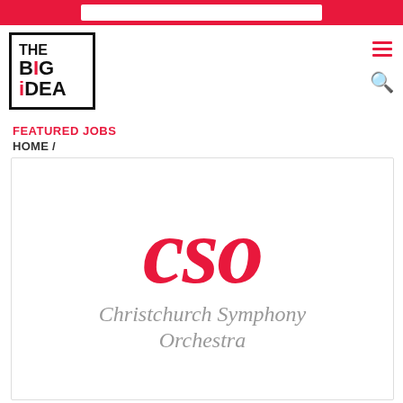[Figure (logo): The Big Idea website header with red banner at top, The Big Idea logo in black bordered box, hamburger menu icon and search icon in red on right]
FEATURED JOBS
HOME /
[Figure (logo): CSO Christchurch Symphony Orchestra logo - large red italic CSO letters with grey italic full name below]